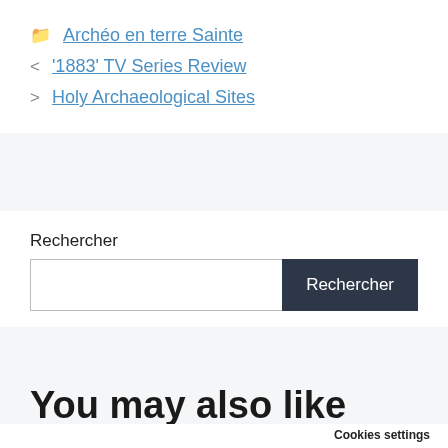📁 Archéo en terre Sainte
< '1883' TV Series Review
> Holy Archaeological Sites
Rechercher
You may also like
Cookies settings